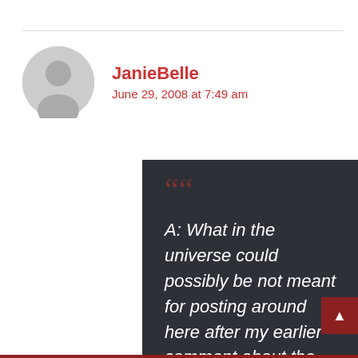JanieBelle
June 29, 2008 at 7:49 am
A: What in the universe could possibly be not meant for posting around here after my earlier comment about the quantity of testes?